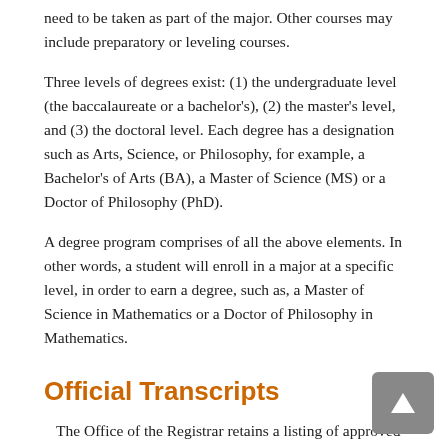need to be taken as part of the major. Other courses may include preparatory or leveling courses.
Three levels of degrees exist: (1) the undergraduate level (the baccalaureate or a bachelor's), (2) the master's level, and (3) the doctoral level. Each degree has a designation such as Arts, Science, or Philosophy, for example, a Bachelor's of Arts (BA), a Master of Science (MS) or a Doctor of Philosophy (PhD).
A degree program comprises of all the above elements. In other words, a student will enroll in a major at a specific level, in order to earn a degree, such as, a Master of Science in Mathematics or a Doctor of Philosophy in Mathematics.
Official Transcripts
The Office of the Registrar retains a listing of approved items recorded on the official transcript.
The official academic transcript will list the degree, and